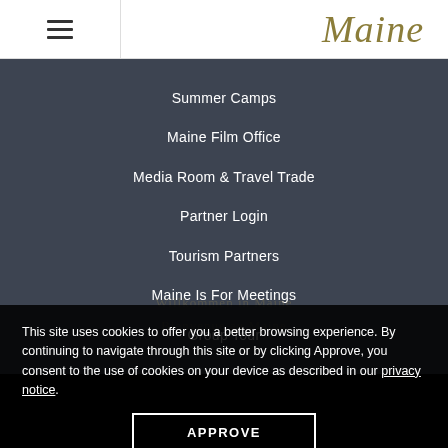Maine
Summer Camps
Maine Film Office
Media Room & Travel Trade
Partner Login
Tourism Partners
Maine Is For Meetings
Group Tour
Willkommen in Maine
Bienvenue au Maine
This site uses cookies to offer you a better browsing experience. By continuing to navigate through this site or by clicking Approve, you consent to the use of cookies on your device as described in our privacy notice.
APPROVE